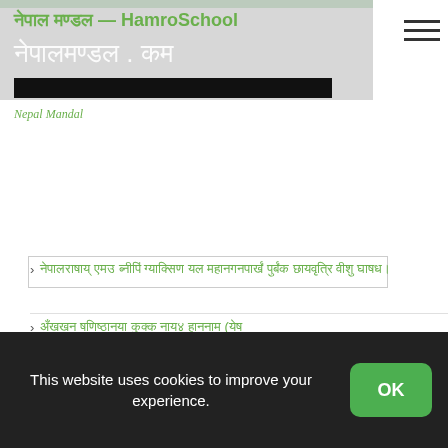नेपाल मण्डल — HamroSchool / नेपालमण्डल.कम
Nepal Mandal
Search input field
Search
Recent Posts
नेपालराषाय् एमउ ब्नीपिं ग्याक्सिण यल महानगनपार्खं पुर्बंक छायवृत्रि वीशु घाषध।
अँखखन षणिष्ठानया कुक्क नाय४ हाननाम (येष
नाम(षखनया वाखं खय् लासें
This website uses cookies to improve your experience.
OK